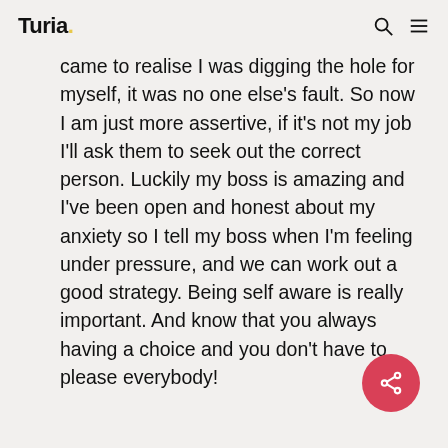Turia.
came to realise I was digging the hole for myself, it was no one else's fault. So now I am just more assertive, if it's not my job I'll ask them to seek out the correct person. Luckily my boss is amazing and I've been open and honest about my anxiety so I tell my boss when I'm feeling under pressure, and we can work out a good strategy. Being self aware is really important. And know that you always having a choice and you don't have to please everybody!
[Figure (other): Pink circular share button with share icon]